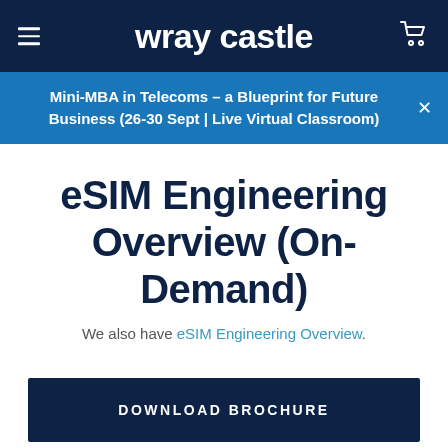wray castle
Mini-MBA in Telecoms – a Blueprint for Future Business (26-30 Sept | Live Virtual Classroom)
eSIM Engineering Overview (On-Demand)
We also have eSIM Engineering Overview.
DOWNLOAD BROCHURE
ENQUIRE NOW